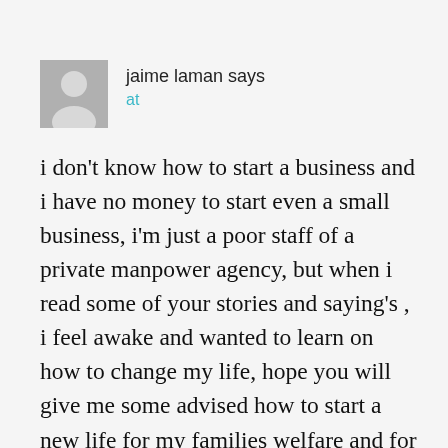[Figure (illustration): Grey avatar placeholder icon showing a person silhouette]
jaime laman says
at
i don't know how to start a business and i have no money to start even a small business, i'm just a poor staff of a private manpower agency, but when i read some of your stories and saying's , i feel awake and wanted to learn on how to change my life, hope you will give me some advised how to start a new life for my families welfare and for the future of my